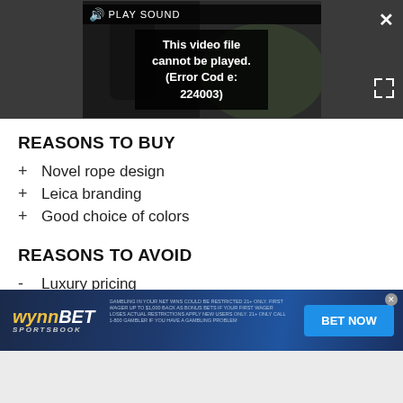[Figure (screenshot): Video player showing error message: 'This video file cannot be played. (Error Code: 224003)' with PLAY SOUND bar and close/expand controls on dark background]
REASONS TO BUY
Novel rope design
Leica branding
Good choice of colors
REASONS TO AVOID
Luxury pricing
[Figure (screenshot): WynnBET Sportsbook advertisement banner with 'BET NOW' button]